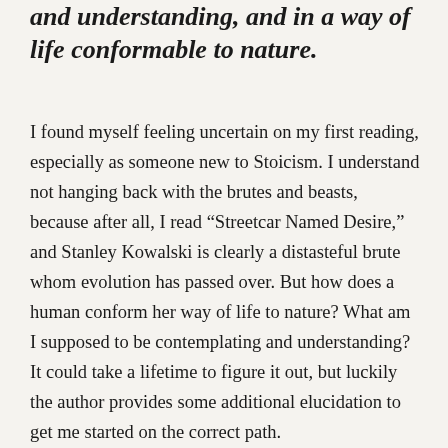and understanding, and in a way of life conformable to nature.
I found myself feeling uncertain on my first reading, especially as someone new to Stoicism. I understand not hanging back with the brutes and beasts, because after all, I read “Streetcar Named Desire,” and Stanley Kowalski is clearly a distasteful brute whom evolution has passed over. But how does a human conform her way of life to nature? What am I supposed to be contemplating and understanding? It could take a lifetime to figure it out, but luckily the author provides some additional elucidation to get me started on the correct path.